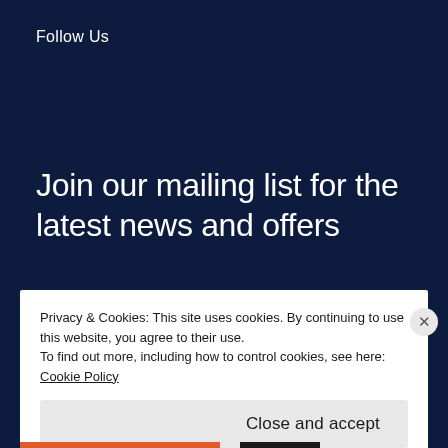Follow Us
Join our mailing list for the latest news and offers
Privacy & Cookies: This site uses cookies. By continuing to use this website, you agree to their use.
To find out more, including how to control cookies, see here:
Cookie Policy
Close and accept